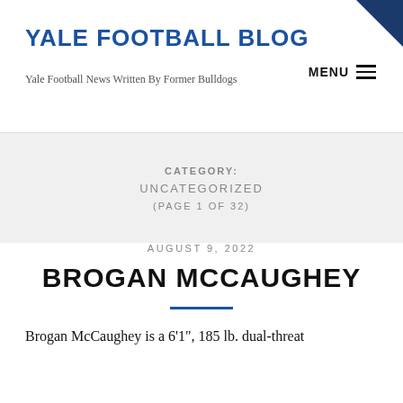YALE FOOTBALL BLOG
Yale Football News Written By Former Bulldogs
CATEGORY:
UNCATEGORIZED
(PAGE 1 OF 32)
AUGUST 9, 2022
BROGAN MCCAUGHEY
Brogan McCaughey is a 6'1", 185 lb. dual-threat